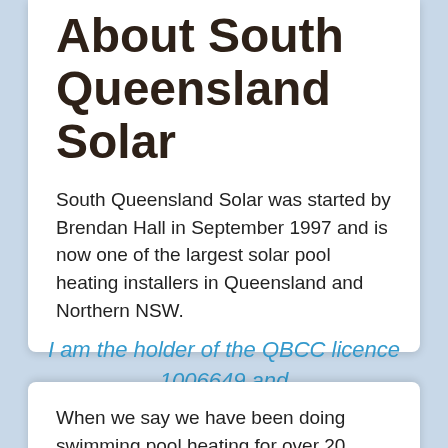About South Queensland Solar
South Queensland Solar was started by Brendan Hall in September 1997 and is now one of the largest solar pool heating installers in Queensland and Northern NSW.
I am the holder of the QBCC licence 1006649 and plumbing industry licence QLD 21953 NSW 177318C.
When we say we have been doing swimming pool heating for over 20 years, we mean it. Our licence is held by the installer, not a